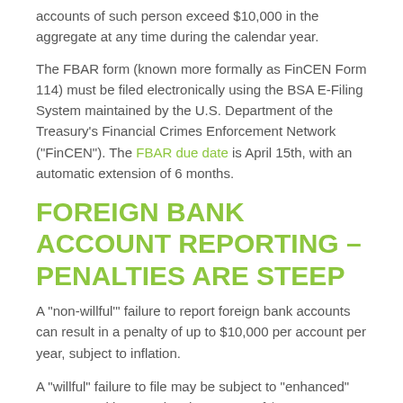accounts of such person exceed $10,000 in the aggregate at any time during the calendar year.
The FBAR form (known more formally as FinCEN Form 114) must be filed electronically using the BSA E-Filing System maintained by the U.S. Department of the Treasury’s Financial Crimes Enforcement Network (“FinCEN”). The FBAR due date is April 15th, with an automatic extension of 6 months.
FOREIGN BANK ACCOUNT REPORTING – PENALTIES ARE STEEP
A “non-willful’’’ failure to report foreign bank accounts can result in a penalty of up to $10,000 per account per year, subject to inflation.
A “willful” failure to file may be subject to “enhanced” FBAR penalties equal to the greater of $100,000, subject to inflation, or 50% of the balance in each unreported account.